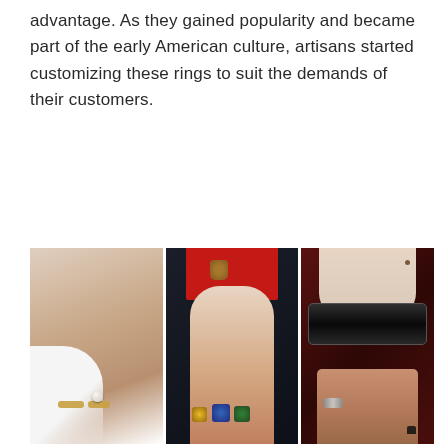advantage. As they gained popularity and became part of the early American culture, artisans started customizing these rings to suit the demands of their customers.
[Figure (photo): Three side-by-side fashion photos showing hands wearing decorative rings and jewelry. Left: a hand wearing gold and pearl rings against a white fabric background. Center: a hand wearing multiple jeweled rings, with a dark jacket sleeve featuring a red cuff with a decorative brooch. Right: a hand wearing a large black cuff bracelet and a ring, against a dark red background.]